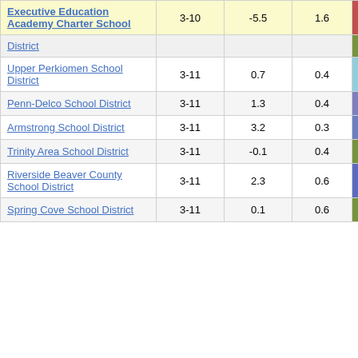| School/District | Grades | Col3 | Col4 | Score |
| --- | --- | --- | --- | --- |
| Executive Education Academy Charter School | 3-10 | -5.5 | 1.6 | -3.40 |
| District (partial) |  |  |  |  |
| Upper Perkiomen School District | 3-11 | 0.7 | 0.4 | 1.64 |
| Penn-Delco School District | 3-11 | 1.3 | 0.4 | 2.89 |
| Armstrong School District | 3-11 | 3.2 | 0.3 | 9.41 |
| Trinity Area School District | 3-11 | -0.1 | 0.4 | -0.26 |
| Riverside Beaver County School District | 3-11 | 2.3 | 0.6 | 3.62 |
| Spring Cove School District | 3-11 | 0.1 | 0.6 | 0.20 |